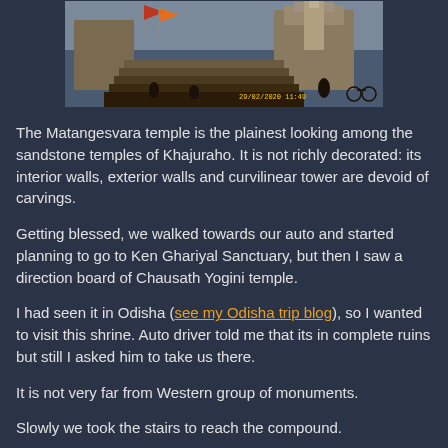[Figure (photo): Photo of Matangesvara temple at Khajuraho showing stone steps, temple tower, and visitors. Timestamp 29/02/2020 11:49 visible in yellow.]
The Matangesvara temple is the plainest looking among the sandstone temples of Khajuraho. It is not richly decorated: its interior walls, exterior walls and curvilinear tower are devoid of carvings.
Getting blessed, we walked towards our auto and started planning to go to Ken Ghariyal Sanctuary, but then I saw a direction board of Chausath Yogini temple.
I had seen it in Odisha (see my Odisha trip blog), so I wanted to visit this shrine. Auto driver told me that its in complete ruins but still I asked him to take us there.
It is not very far from Western group of monuments.
Slowly we took the stairs to reach the compound.